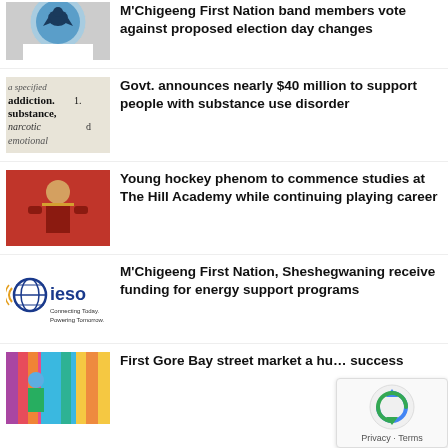[Figure (illustration): Partially cropped tribal band logo/crest image at top]
M'Chigeeng First Nation band members vote against proposed election day changes
[Figure (photo): Close-up of dictionary text showing words: addiction, substance, narcotic, emotional, a specified]
Govt. announces nearly $40 million to support people with substance use disorder
[Figure (photo): Young boy in red coat holding something, hockey phenom story]
Young hockey phenom to commence studies at The Hill Academy while continuing playing career
[Figure (logo): IESO logo - Connecting Today. Powering Tomorrow.]
M'Chigeeng First Nation, Sheshegwaning receive funding for energy support programs
[Figure (photo): Person standing in front of colorful market stall with fabrics]
First Gore Bay street market a hu… success